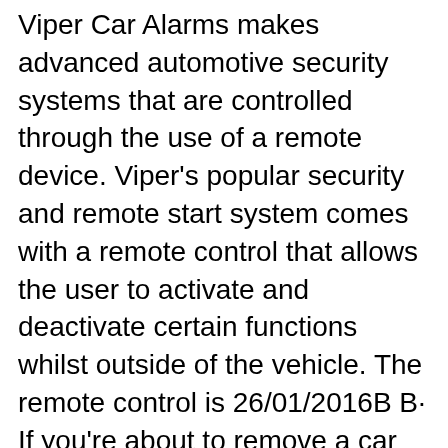Viper Car Alarms makes advanced automotive security systems that are controlled through the use of a remote device. Viper's popular security and remote start system comes with a remote control that allows the user to activate and deactivate certain functions whilst outside of the vehicle. The remote control is 26/01/2016В В· If you're about to remove a car alarm system, Watch this before you do so you'll know what to look for and maybe some things to avoid doing to get a good result. If вЂ¦
Viper Model 300 Manual Viper 300 ESP Manual Online: Transmitter/receiver Learn Routine. The system comes with